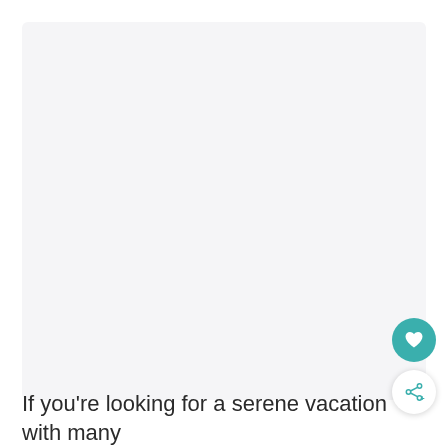[Figure (photo): Large light gray rectangular image placeholder area, rounded corners, taking up most of the upper portion of the page]
[Figure (other): Teal circular heart/favorite button icon]
[Figure (other): White circular share button icon with share/network symbol and plus sign]
If you're looking for a serene vacation with many